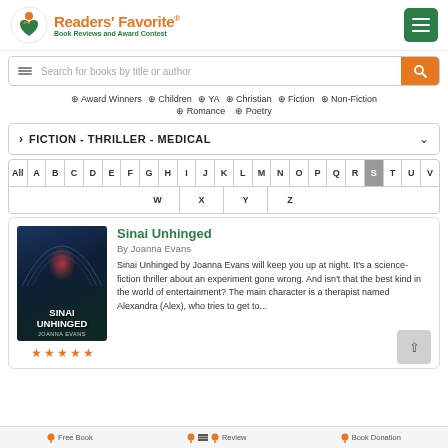Readers' Favorite — Book Reviews and Award Contest
Search for books by title or author
Award Winners  Children  YA  Christian  Fiction  Non-Fiction  Romance  Poetry
FICTION - THRILLER - MEDICAL
All A B C D E F G H I J K L M N O P Q R S T U V W X Y Z
Sinai Unhinged
By Joanna Evans
Sinai Unhinged by Joanna Evans will keep you up at night. It's a science-fiction thriller about an experiment gone wrong. And isn't that the best kind in the world of entertainment? The main character is a therapist named Alexandra (Alex), who tries to get to...
Free Book   Review   Book Donation